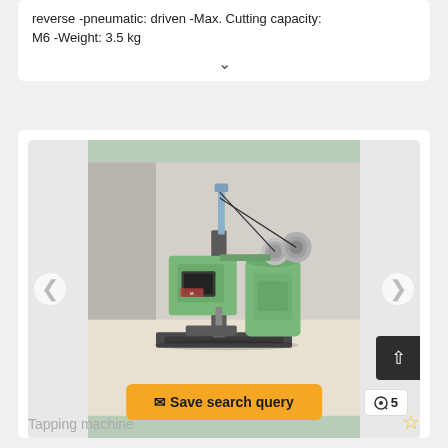reverse -pneumatic: driven -Max. Cutting capacity: M6 -Weight: 3.5 kg
[Figure (photo): Green tapping machine photographed on a light-colored surface, showing the main body, spindle, motor, and base plate]
Save search query
5
Tapping machine